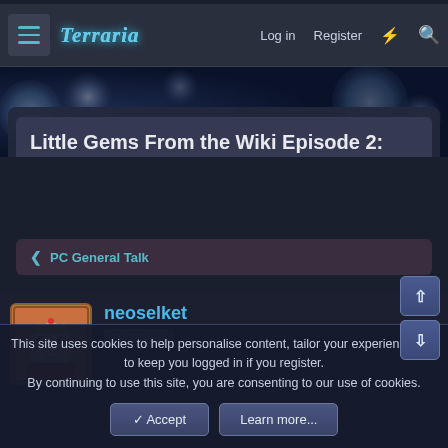Terraria — Log in  Register
Little Gems From the Wiki Episode 2: The Saga Continues
Dusty Sinclair · Sep 27, 2014
< PC General Talk
neoselket
Ice Queen
This site uses cookies to help personalise content, tailor your experience and to keep you logged in if you register.
By continuing to use this site, you are consenting to our use of cookies.
✓ Accept    Learn more...